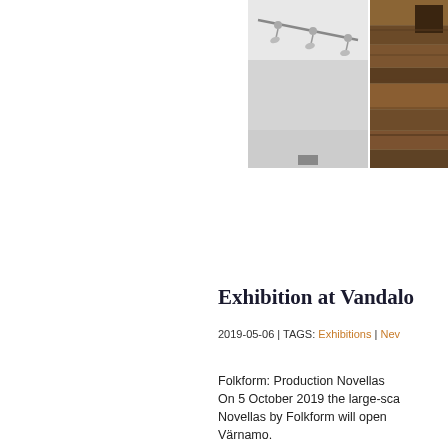[Figure (photo): Two side-by-side photos: left shows a gallery interior with track lighting on white ceiling, right shows a wooden textured surface in brown tones.]
Exhibition at Vandalo
2019-05-06 | TAGS: Exhibitions | New
Folkform: Production Novellas
On 5 October 2019 the large-sca
Novellas by Folkform will open
Värnamo.